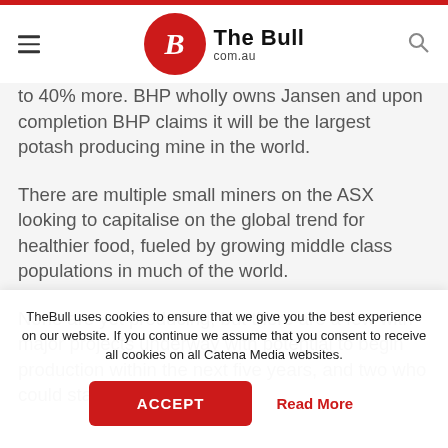The Bull com.au
to 40% more. BHP wholly owns Jansen and upon completion BHP claims it will be the largest potash producing mine in the world.
There are multiple small miners on the ASX looking to capitalise on the global trend for healthier food, fueled by growing middle class populations in much of the world.
None are yet producing, but there are a few with major projects underway with potential to begin production within the next five years, and two who could start in the very
TheBull uses cookies to ensure that we give you the best experience on our website. If you continue we assume that you consent to receive all cookies on all Catena Media websites.